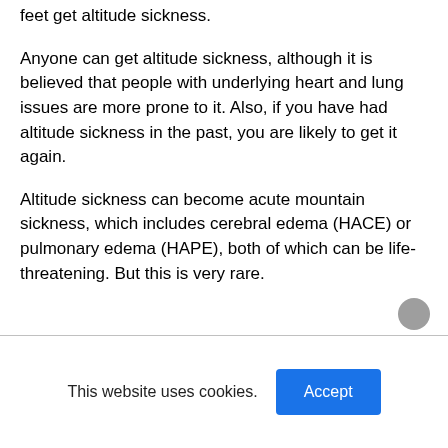feet get altitude sickness.
Anyone can get altitude sickness, although it is believed that people with underlying heart and lung issues are more prone to it. Also, if you have had altitude sickness in the past, you are likely to get it again.
Altitude sickness can become acute mountain sickness, which includes cerebral edema (HACE) or pulmonary edema (HAPE), both of which can be life-threatening. But this is very rare.
This website uses cookies.  Accept